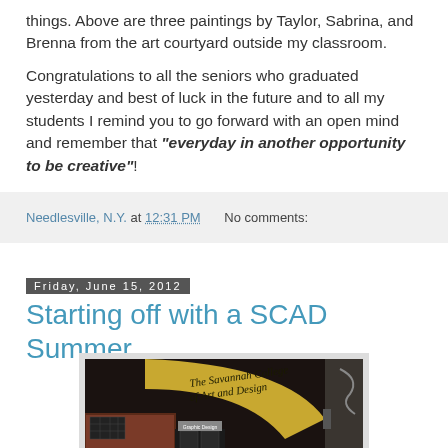things. Above are three paintings by Taylor, Sabrina, and Brenna from the art courtyard outside my classroom.
Congratulations to all the seniors who graduated yesterday and best of luck in the future and to all my students I remind you to go forward with an open mind and remember that "everyday in another opportunity to be creative"!
Needlesville, N.Y. at 12:31 PM   No comments:
Friday, June 15, 2012
Starting off with a SCAD Summer
[Figure (photo): Photo of the Savannah College of Art and Design building entrance sign reading 'The Savannah College of Art and Design']